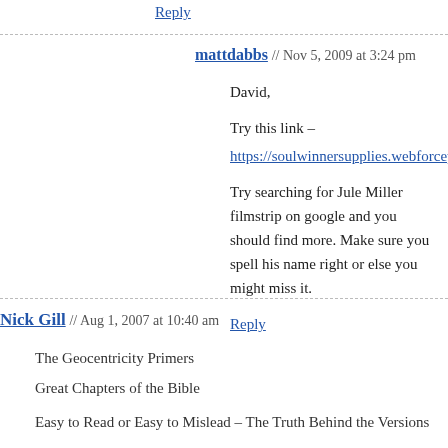Reply
mattdabbs // Nov 5, 2009 at 3:24 pm
David,
Try this link –
https://soulwinnersupplies.webforcepro.com/store/item/1w3s
Try searching for Jule Miller filmstrip on google and you should find more. Make sure you spell his name right or else you might miss it.
Reply
Nick Gill // Aug 1, 2007 at 10:40 am
The Geocentricity Primers
Great Chapters of the Bible
Easy to Read or Easy to Mislead – The Truth Behind the Versions